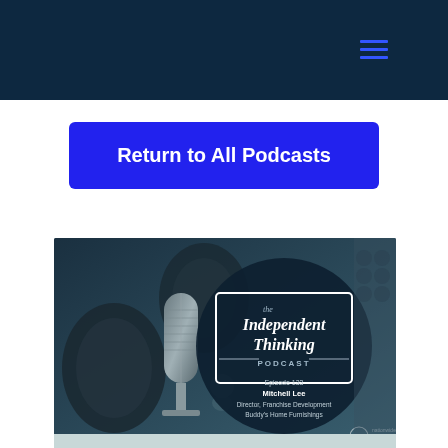Return to All Podcasts
[Figure (photo): Podcast episode thumbnail showing headphones and vintage microphone in a dark blue-tinted studio setting. Contains a dark circle overlay with 'the Independent Thinking PODCAST' logo text, and episode details: Episode 133, Mitchell Lee, Director, Franchise Development, Buddy's Home Furnishings. Nationwide Marketing Group logo in bottom right.]